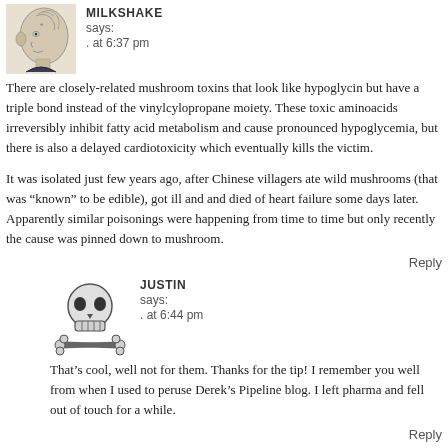[Figure (illustration): Avatar of a side-profile illustration of a human head with brain visible]
MILKSHAKE says:
. at 6:37 pm
There are closely-related mushroom toxins that look like hypoglycin but have a triple bond instead of the vinylcylopropane moiety. These toxic aminoacids irreversibly inhibit fatty acid metabolism and cause pronounced hypoglycemia, but there is also a delayed cardiotoxicity which eventually kills the victim.
It was isolated just few years ago, after Chinese villagers ate wild mushrooms (that was “known” to be edible), got ill and and died of heart failure some days later. Apparently similar poisonings were happening from time to time but only recently the cause was pinned down to mushroom.
Reply
[Figure (illustration): Skull and crossbones icon avatar]
JUSTIN says:
. at 6:44 pm
That’s cool, well not for them. Thanks for the tip! I remember you well from when I used to peruse Derek’s Pipeline blog. I left pharma and fell out of touch for a while.
Reply
[Figure (illustration): Skull and crossbones icon avatar (partial, bottom of page)]
JUSTIN says: